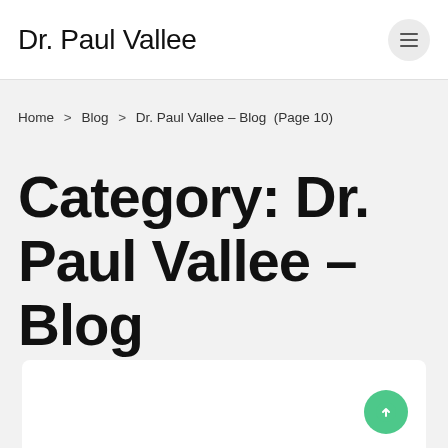Dr. Paul Vallee
Home > Blog > Dr. Paul Vallee – Blog (Page 10)
Category: Dr. Paul Vallee – Blog
DR. PAUL VALLEE - BLOG